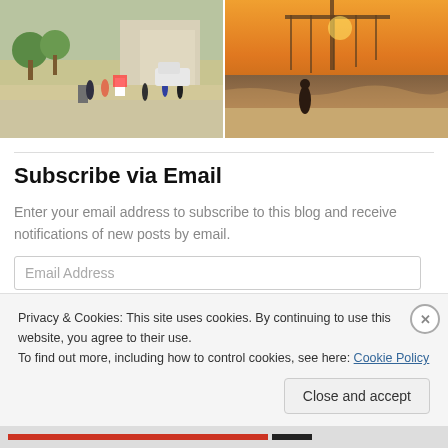[Figure (photo): Two side-by-side photos: left shows a city street/plaza scene with people walking, trees, and buildings; right shows a beach scene at sunset with a pier and a person standing at the water's edge.]
Enter your email address to subscribe to this blog and receive notifications of new posts by email.
Subscribe via Email
Email Address
Privacy & Cookies: This site uses cookies. By continuing to use this website, you agree to their use.
To find out more, including how to control cookies, see here: Cookie Policy
Close and accept